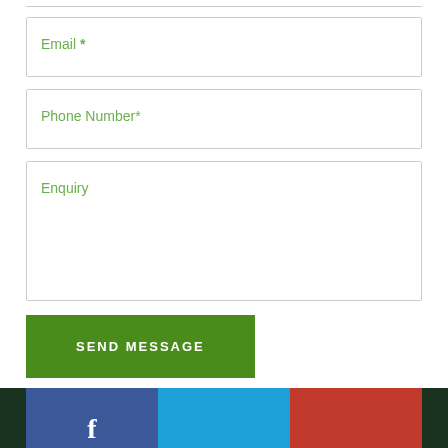Email *
Phone Number*
Enquiry
SEND MESSAGE
[Figure (other): Footer with social media icon buttons: Facebook (blue), Twitter (light blue), Google+ (red), with dark green side panels]